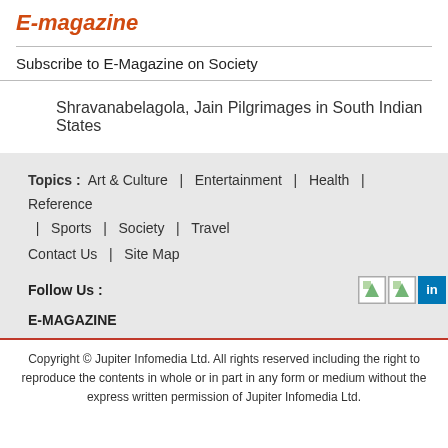E-magazine
Subscribe to E-Magazine on Society
Shravanabelagola, Jain Pilgrimages in South Indian States
Topics : Art & Culture | Entertainment | Health | Reference | Sports | Society | Travel
Contact Us | Site Map
Follow Us :
E-MAGAZINE
Copyright © Jupiter Infomedia Ltd. All rights reserved including the right to reproduce the contents in whole or in part in any form or medium without the express written permission of Jupiter Infomedia Ltd.